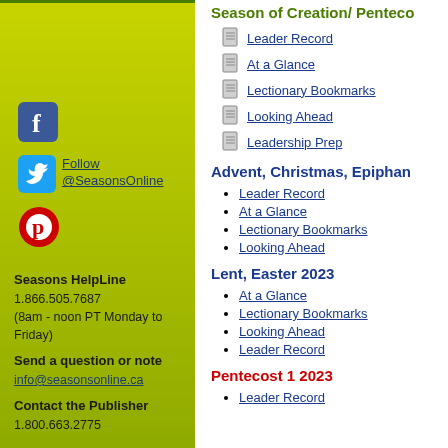Season of Creation/ Pentec...
Leader Record
At a Glance
Lectionary Bookmarks
Looking Ahead
Leadership Prep
Advent, Christmas, Epiphan...
Leader Record
At a Glance
Lectionary Bookmarks
Looking Ahead
Lent, Easter 2023
At a Glance
Lectionary Bookmarks
Looking Ahead
Leader Record
Pentecost 1 2023
Leader Record
[Figure (logo): Facebook icon - blue rounded square with white f]
[Figure (logo): Twitter bird icon - blue rounded square]
Follow @SeasonsOnline
[Figure (logo): Pinterest icon - red circle with P]
Seasons HelpLine
1.866.505.7687
(8am - noon PT Monday to Friday)
Send a question or note
info@seasonsonline.ca
Contact the Publisher
1.800.663.2775